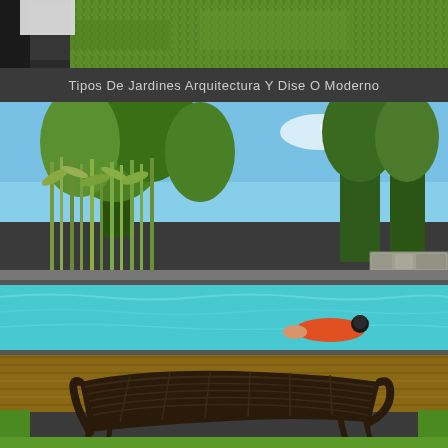[Figure (photo): Top portion of a garden or artificial grass/turf area, partially cropped, showing green artificial lawn with some structural elements at the left edge]
Tipos De Jardines Arquitectura Y Dise O Moderno
[Figure (photo): Modern garden with swimming pool. A person in a red swimsuit is relaxing in the pool. A dark wicker/rattan sun lounger is in the foreground on a wooden deck. In the background there are bamboo plants, tall trees, a stone gabion wall, and outdoor wicker furniture with white cushions on a patio area. The setting is a contemporary outdoor living space.]